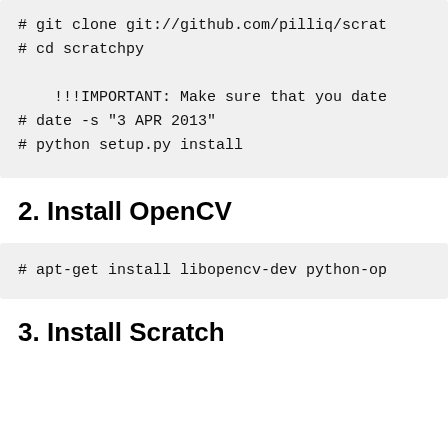# git clone git://github.com/pilliq/scrat
# cd scratchpy

    !!!IMPORTANT: Make sure that you date
# date -s "3 APR 2013"
# python setup.py install
2. Install OpenCV
# apt-get install libopencv-dev python-op
3. Install Scratch